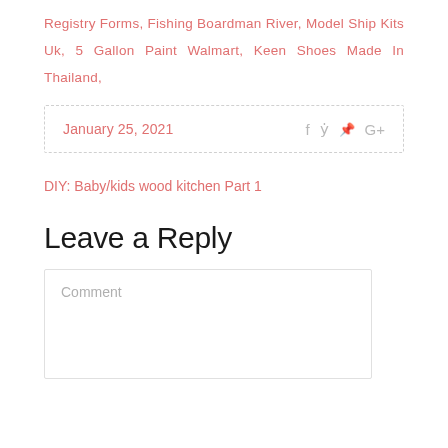Registry Forms, Fishing Boardman River, Model Ship Kits Uk, 5 Gallon Paint Walmart, Keen Shoes Made In Thailand,
January 25, 2021
DIY: Baby/kids wood kitchen Part 1
Leave a Reply
Comment